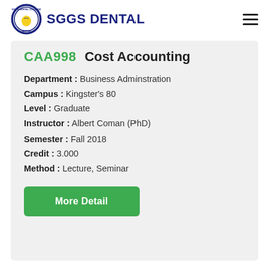SGGS DENTAL
CAA998  Cost Accounting
Department : Business Adminstration
Campus : Kingster's 80
Level : Graduate
Instructor : Albert Coman (PhD)
Semester : Fall 2018
Credit : 3.000
Method : Lecture, Seminar
More Detail